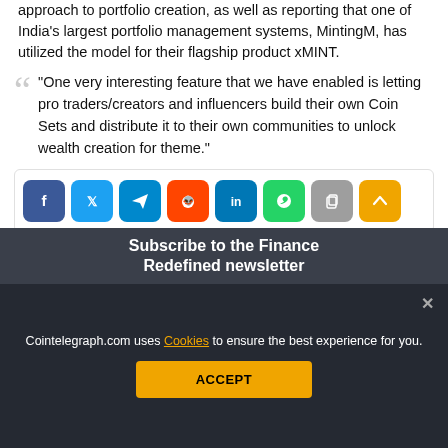approach to portfolio creation, as well as reporting that one of India's largest portfolio management systems, MintingM, has utilized the model for their flagship product xMINT.
"One very interesting feature that we have enabled is letting pro traders/creators and influencers build their own Coin Sets and distribute it to their own communities to unlock wealth creation for theme."
[Figure (infographic): Row of social media share buttons: Facebook (blue), Twitter (blue), Telegram (cyan), Reddit (orange), LinkedIn (blue), WhatsApp (green), Copy (grey), and Up arrow (yellow/gold)]
Subscribe to the Finance Redefined newsletter
Cointelegraph.com uses Cookies to ensure the best experience for you.
ACCEPT